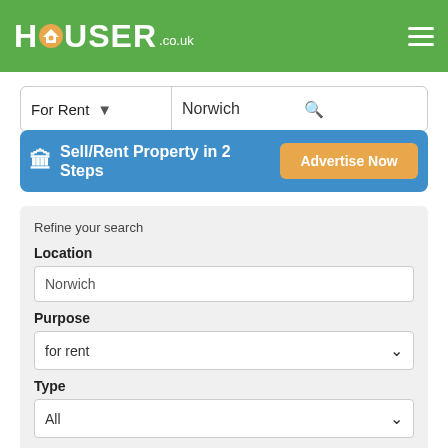[Figure (logo): Houser.co.uk logo with orange house icon on green header background]
For Rent   Norwich
🏢 Sell/Rent Property in 2 Steps   Advertise Now
Refine your search
Location
Norwich
Purpose
for rent
Type
All
Beds
All
Price (Min)
Select Min Price